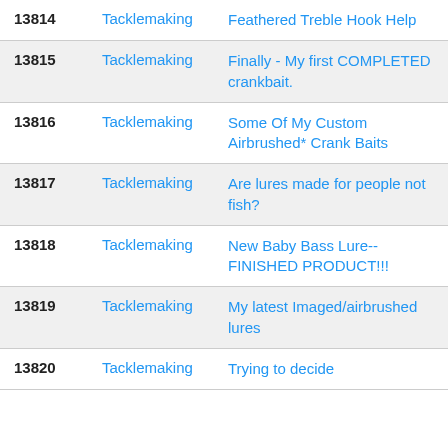| ID | Category | Title |
| --- | --- | --- |
| 13814 | Tacklemaking | Feathered Treble Hook Help |
| 13815 | Tacklemaking | Finally - My first COMPLETED crankbait. |
| 13816 | Tacklemaking | Some Of My Custom Airbrushed* Crank Baits |
| 13817 | Tacklemaking | Are lures made for people not fish? |
| 13818 | Tacklemaking | New Baby Bass Lure-- FINISHED PRODUCT!!! |
| 13819 | Tacklemaking | My latest Imaged/airbrushed lures |
| 13820 | Tacklemaking | Trying to decide |